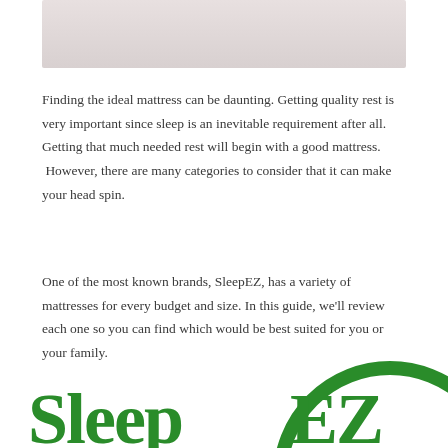[Figure (photo): Top portion of a mattress product photo, light pink/white tones, cropped at top of page]
Finding the ideal mattress can be daunting. Getting quality rest is very important since sleep is an inevitable requirement after all. Getting that much needed rest will begin with a good mattress.  However, there are many categories to consider that it can make your head spin.
One of the most known brands, SleepEZ, has a variety of mattresses for every budget and size. In this guide, we'll review each one so you can find which would be best suited for you or your family.
[Figure (logo): SleepEZ brand logo in green — large circular arc with 'Sleep EZ' text in green]